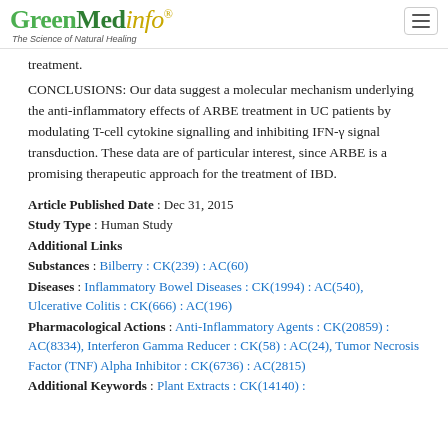GreenMedinfo - The Science of Natural Healing
treatment.
CONCLUSIONS: Our data suggest a molecular mechanism underlying the anti-inflammatory effects of ARBE treatment in UC patients by modulating T-cell cytokine signalling and inhibiting IFN-γ signal transduction. These data are of particular interest, since ARBE is a promising therapeutic approach for the treatment of IBD.
Article Published Date : Dec 31, 2015
Study Type : Human Study
Additional Links
Substances : Bilberry : CK(239) : AC(60)
Diseases : Inflammatory Bowel Diseases : CK(1994) : AC(540), Ulcerative Colitis : CK(666) : AC(196)
Pharmacological Actions : Anti-Inflammatory Agents : CK(20859) : AC(8334), Interferon Gamma Reducer : CK(58) : AC(24), Tumor Necrosis Factor (TNF) Alpha Inhibitor : CK(6736) : AC(2815)
Additional Keywords : Plant Extracts : CK(14140) :